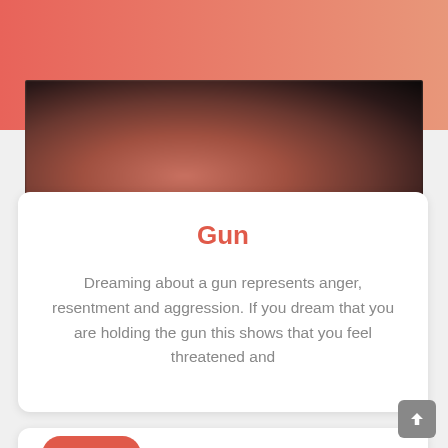[Figure (photo): A blurred photo of a hand holding a gun pointed toward the camera, dark background]
Gun
Dreaming about a gun represents anger, resentment and aggression. If you dream that you are holding the gun this shows that you feel threatened and
Objects